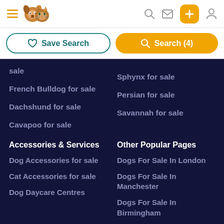Navigation header with hamburger menu, pet logo, search icon, mail icon, plus button, user icon
Save Search
Search (4)
sale
Sphynx for sale
French Bulldog for sale
Persian for sale
Dachshund for sale
Savannah for sale
Cavapoo for sale
Accessories & Services
Other Popular Pages
Dog Accessories for sale
Dogs For Sale In London
Cat Accessories for sale
Dogs For Sale In Manchester
Dog Daycare Centres
Dogs For Sale In Birmingham